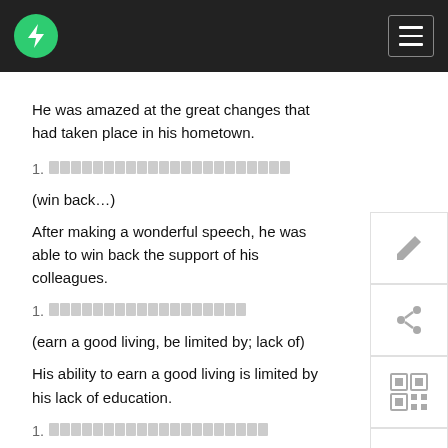Navigation bar with logo and menu
He was amazed at the great changes that had taken place in his hometown.
[redacted Chinese characters]
(win back…)
After making a wonderful speech, he was able to win back the support of his colleagues.
[redacted Chinese characters]
(earn a good living, be limited by; lack of)
His ability to earn a good living is limited by his lack of education.
[redacted Chinese characters]